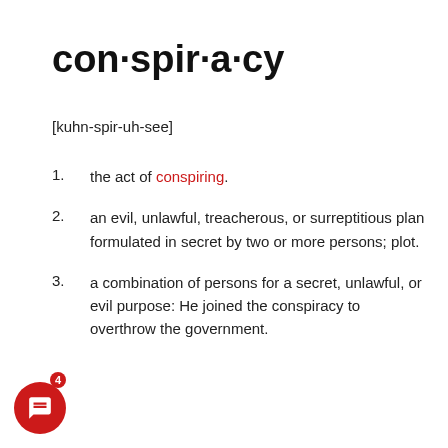con·spir·a·cy
[kuhn-spir-uh-see]
1. the act of conspiring.
2. an evil, unlawful, treacherous, or surreptitious plan formulated in secret by two or more persons; plot.
3. a combination of persons for a secret, unlawful, or evil purpose: He joined the conspiracy to overthrow the government.